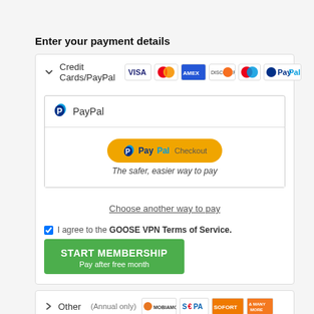Enter your payment details
Credit Cards/PayPal [payment logos]
PayPal
[Figure (screenshot): PayPal Checkout button with text 'The safer, easier way to pay']
Choose another way to pay
I agree to the GOOSE VPN Terms of Service.
START MEMBERSHIP
Pay after free month
Other (Annual only) [payment logos: Mobiamo, SEPA, Sofort, and many more]